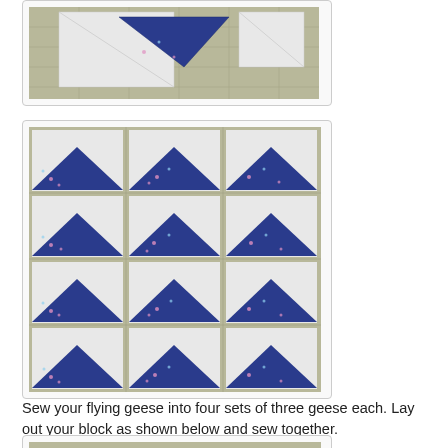[Figure (photo): Partial view of flying geese quilt pieces laid out on a cutting mat, showing blue and white fabric triangles in progress]
[Figure (photo): Grid of 12 completed flying geese quilt blocks arranged in 4 rows of 3, each block showing a blue floral triangle on white background, laid on a yellow-green cutting mat]
Sew your flying geese into four sets of three geese each. Lay out your block as shown below and sew together.
[Figure (photo): Bottom portion of another quilt photo, partially visible at page bottom]